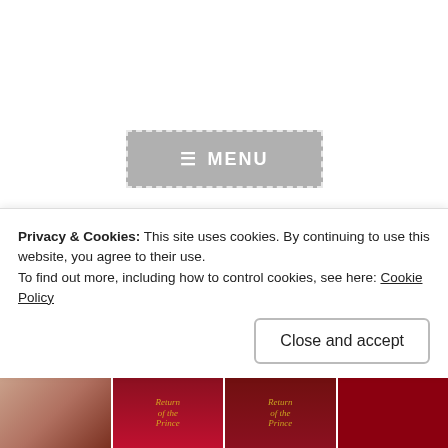[Figure (screenshot): Grey MENU button with dashed white border and hamburger icon]
PRE-ORDER & SALE · PROMOS
'Return of the Prince' by Nana Malone
April 25, 2019 · Mia
Privacy & Cookies: This site uses cookies. By continuing to use this website, you agree to their use.
To find out more, including how to control cookies, see here: Cookie Policy
Close and accept
[Figure (photo): Bottom strip showing book cover images for 'Return of the Prince']